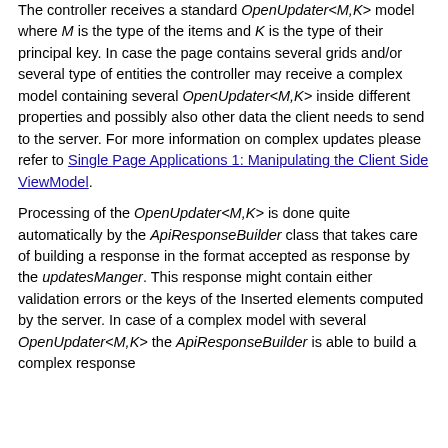The controller receives a standard OpenUpdater<M,K> model where M is the type of the items and K is the type of their principal key. In case the page contains several grids and/or several type of entities the controller may receive a complex model containing several OpenUpdater<M,K> inside different properties and possibly also other data the client needs to send to the server. For more information on complex updates please refer to Single Page Applications 1: Manipulating the Client Side ViewModel.
Processing of the OpenUpdater<M,K> is done quite automatically by the ApiResponseBuilder class that takes care of building a response in the format accepted as response by the updatesManger. This response might contain either validation errors or the keys of the Inserted elements computed by the server. In case of a complex model with several OpenUpdater<M,K> the ApiResponseBuilder is able to build a complex response...